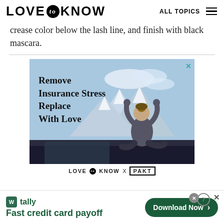LOVE to KNOW   ALL TOPICS
crease color below the lash line, and finish with black mascara.
[Figure (illustration): Advertisement for insurance: 'Remove Insurance Stress Replace With Love' with a woman sitting on top of a car roof with mountains in the background. Branded 'LOVE to KNOW X PAKT'.]
[Figure (other): Bottom banner ad for Tally: 'Fast credit card payoff' with a 'Download Now' button.]